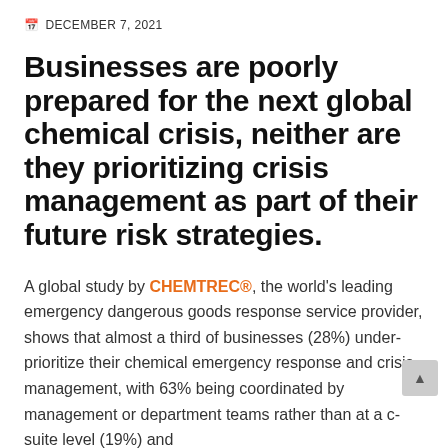DECEMBER 7, 2021
Businesses are poorly prepared for the next global chemical crisis, neither are they prioritizing crisis management as part of their future risk strategies.
A global study by CHEMTREC®, the world's leading emergency dangerous goods response service provider, shows that almost a third of businesses (28%) under-prioritize their chemical emergency response and crisis management, with 63% being coordinated by management or department teams rather than at a c-suite level (19%) and